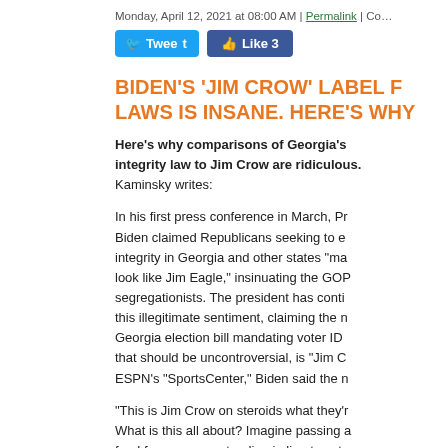Monday, April 12, 2021 at 08:00 AM | Permalink | Co...
[Figure (other): Social media buttons: Tweet button (Twitter/blue) and Like 3 button (Facebook/blue)]
BIDEN'S 'JIM CROW' LABEL FOR GEORGIA'S ELECTION LAWS IS INSANE. HERE'S WHY...
Here's why comparisons of Georgia's election integrity law to Jim Crow are ridiculous. Kaminsky writes:
In his first press conference in March, President Biden claimed Republicans seeking to ensure election integrity in Georgia and other states "make Jim Eagle look like Jim Eagle," insinuating the GOP were segregationists. The president has continued to push this illegitimate sentiment, claiming the new Georgia election bill mandating voter ID requirements, that should be uncontroversial, is "Jim Crow." On ESPN's "SportsCenter," Biden said the new law...
"This is Jim Crow on steroids what they're doing. What is this all about? Imagine passing a law saying food for someone standing in line to vote. Or you're going to close a polling place a...